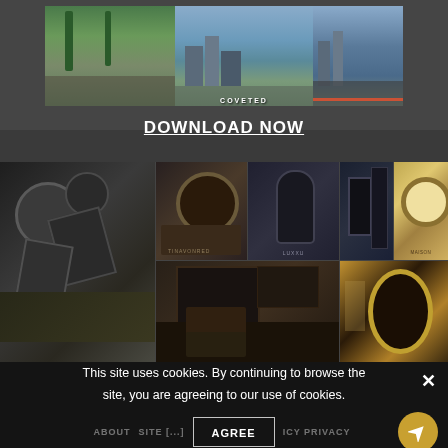[Figure (photo): Top section with cityscape photo collage showing palm trees, city skyline, and highway. Text 'COVETED' overlaid on image.]
DOWNLOAD NOW
[Figure (photo): Grid of luxury interior design photos featuring various mirrors, dressers, and bedroom furniture with brand labels including TINAVONRED, LUXXU, and MAISON.]
This site uses cookies. By continuing to browse the site, you are agreeing to our use of cookies.
ABOUT   SITE [...]   ICY PRIVACY
AGREE